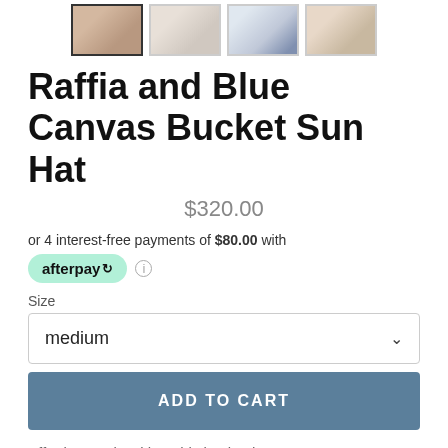[Figure (photo): Four product thumbnail images of a raffia and blue canvas bucket hat shown from different angles]
Raffia and Blue Canvas Bucket Sun Hat
$320.00
or 4 interest-free payments of $80.00 with
[Figure (logo): Afterpay logo badge in mint green with chain link icon]
Size
medium
ADD TO CART
Effortless style with a chic bucket hat